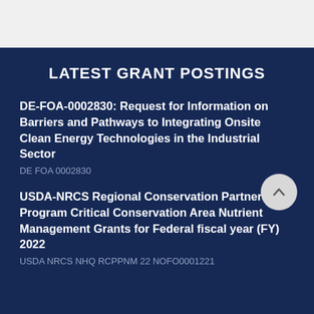LATEST GRANT POSTINGS
DE-FOA-0002830: Request for Information on Barriers and Pathways to Integrating Onsite Clean Energy Technologies in the Industrial Sector
DE FOA 0002830
USDA-NRCS Regional Conservation Partnership Program Critical Conservation Area Nutrient Management Grants for Federal fiscal year (FY) 2022
USDA NRCS NHQ RCPPNM 22 NOFO0001221